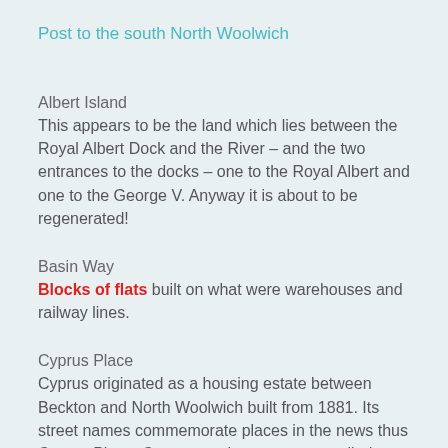Post to the south North Woolwich
Albert Island
This appears to be the land which lies between the Royal Albert Dock and the River – and the two entrances to the docks – one to the Royal Albert and one to the George V. Anyway it is about to be regenerated!
Basin Way
Blocks of flats built on what were warehouses and railway lines.
Cyprus Place
Cyprus originated as a housing estate between Beckton and North Woolwich built from 1881. Its street names commemorate places in the news thus Cyprus Place. Cyprus, as the estate was called, was squalid development because